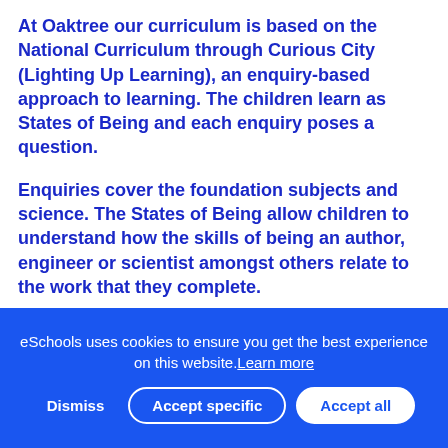At Oaktree our curriculum is based on the National Curriculum through Curious City (Lighting Up Learning), an enquiry-based approach to learning. The children learn as States of Being and each enquiry poses a question.
Enquiries cover the foundation subjects and science. The States of Being allow children to understand how the skills of being an author, engineer or scientist amongst others relate to the work that they complete.
Please see the whole school overview for information on each Enquiry question for each term.
eSchools uses cookies to ensure you get the best experience on this website. Learn more
Dismiss | Accept specific | Accept all